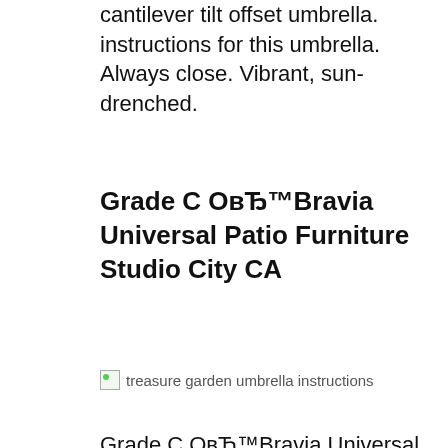cantilever tilt offset umbrella. instructions for this umbrella. Always close. Vibrant, sun-drenched.
Grade C ОвЂ™Bravia Universal Patio Furniture Studio City CA
[Figure (other): Broken image placeholder with alt text: treasure garden umbrella instructions]
Grade C ОвЂ™Bravia Universal Patio Furniture Studio City CA. We think the Treasure Garden Market Aluminum Push Button Tilt Umbrella and the US Weight Umbrella Base make up the best patio umbrellas for most people. We think the Treasure Garden Market Aluminum Push Button Tilt Umbrella and the US Weight